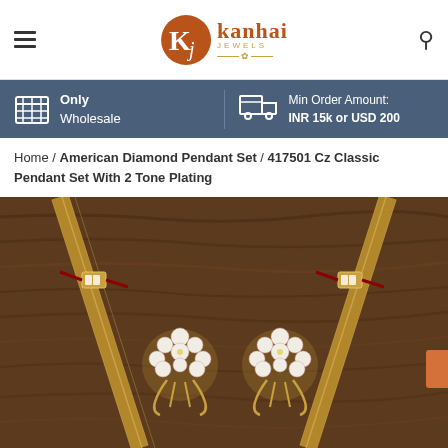Kanhai Jewels - Only Wholesale, Min Order Amount: INR 15k or USD 200
Home / American Diamond Pendant Set / 417501 Cz Classic Pendant Set With 2 Tone Plating
[Figure (photo): Product photo of a gold mesh chain pendant set with two floral pearl and diamond stud earrings on a dark wood background]